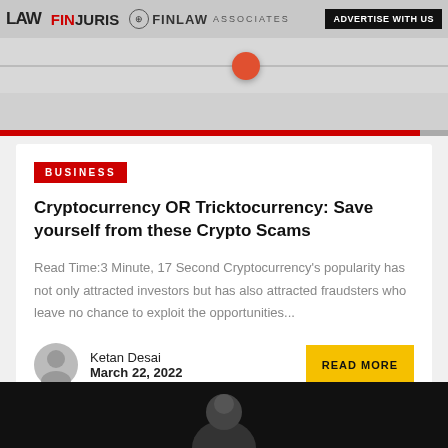[Figure (screenshot): Top banner with logos: LAW, FINJURIS, FINLAW ASSOCIATES, and an ADVERTISE button, with a slider/carousel control below]
BUSINESS
Cryptocurrency OR Tricktocurrency: Save yourself from these Crypto Scams
Read Time:3 Minute, 17 Second Cryptocurrency's popularity has not only attracted investors but has also attracted fraudsters who leave no chance to exploit the opportunities...
Ketan Desai
March 22, 2022
[Figure (photo): Dark background image showing partial silhouette of a person's head at the bottom of the page]